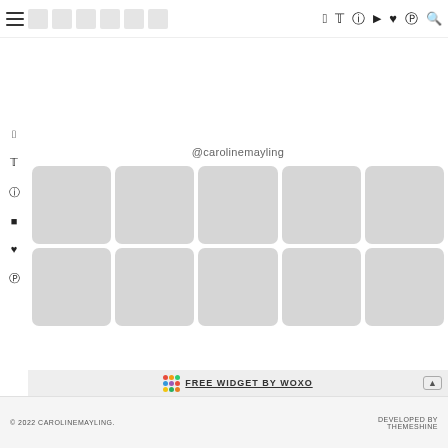Navigation bar with hamburger menu, numbered page tabs, and social icons (Facebook, Twitter, Instagram, YouTube, heart, Pinterest, search)
@carolinemayling
[Figure (other): Grid of 10 light gray rounded placeholder image boxes arranged in 2 rows of 5]
FREE WIDGET BY WOXO
© 2022 CAROLINEMAYLING.     DEVELOPED BY THEMESHINE